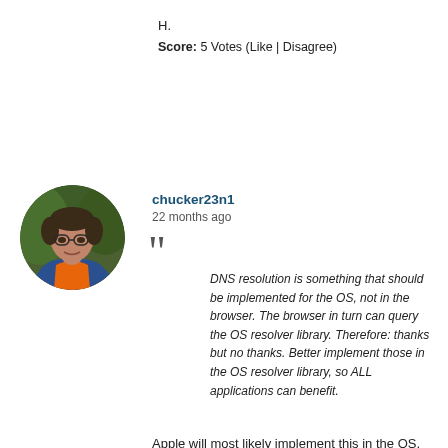H.
Score: 5 Votes (Like | Disagree)
[Figure (photo): Profile photo of user chucker23n1, a man wearing an orange shirt and blue jacket, circular crop]
chucker23n1
22 months ago
DNS resolution is something that should be implemented for the OS, not in the browser. The browser in turn can query the OS resolver library. Therefore: thanks but no thanks. Better implement those in the OS resolver library, so ALL applications can benefit.
Apple will most likely implement this in the OS, so…
Score: 3 Votes (Like | Disagree)
Read All Comments
×
Related Stories